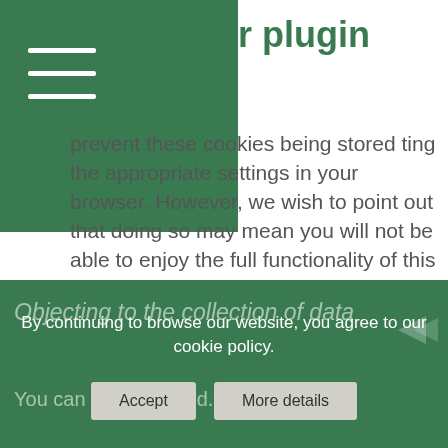r plugin
prevent these cookies being stored ting the appropriate settings in your browser. However, we wish to point out that doing so may mean you will not be able to enjoy the full functionality of this website. You can also prevent the data generated by cookies about your use of the website (incl. your IP address) from being passed to Google, and the processing of these data by Google, by downloading and installing the browser plugin available at the following link: https://tools.google.com/dlpage/gaoptout?hl=en.
Objecting to the collection of data
You can pre... k and d... ... our data
By continuing to browse our website, you agree to our cookie policy.
Accept
More details